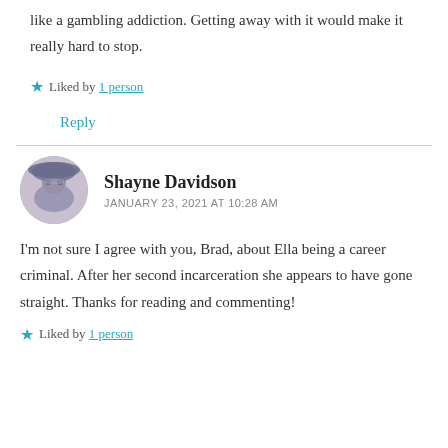like a gambling addiction. Getting away with it would make it really hard to stop.
Liked by 1 person
Reply
Shayne Davidson
JANUARY 23, 2021 AT 10:28 AM
I'm not sure I agree with you, Brad, about Ella being a career criminal. After her second incarceration she appears to have gone straight. Thanks for reading and commenting!
Liked by 1 person